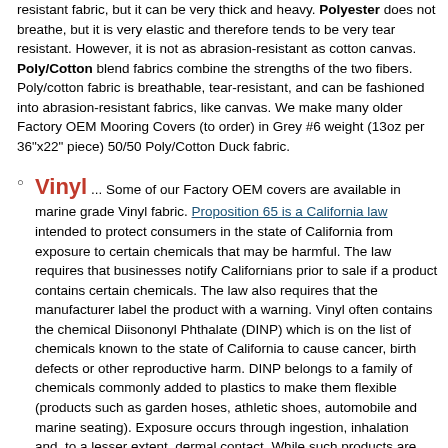resistant fabric, but it can be very thick and heavy. Polyester does not breathe, but it is very elastic and therefore tends to be very tear resistant. However, it is not as abrasion-resistant as cotton canvas. Poly/Cotton blend fabrics combine the strengths of the two fibers. Poly/cotton fabric is breathable, tear-resistant, and can be fashioned into abrasion-resistant fabrics, like canvas. We make many older Factory OEM Mooring Covers (to order) in Grey #6 weight (13oz per 36"x22" piece) 50/50 Poly/Cotton Duck fabric.
Vinyl ... Some of our Factory OEM covers are available in marine grade Vinyl fabric. Proposition 65 is a California law intended to protect consumers in the state of California from exposure to certain chemicals that may be harmful. The law requires that businesses notify Californians prior to sale if a product contains certain chemicals. The law also requires that the manufacturer label the product with a warning. Vinyl often contains the chemical Diisononyl Phthalate (DINP) which is on the list of chemicals known to the state of California to cause cancer, birth defects or other reproductive harm. DINP belongs to a family of chemicals commonly added to plastics to make them flexible (products such as garden hoses, athletic shoes, automobile and marine seating). Exposure occurs through ingestion, inhalation and, to a lesser extent, dermal contact. While such products are perfectly safe to use in their intended manner, the law still requires that we warn Californians of the presence of